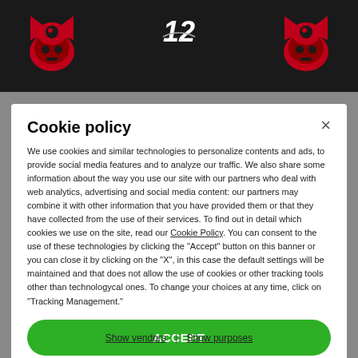[Figure (screenshot): Dark banner with Tampa Bay Buccaneers logos on left and right, and a number 12 brand logo in the center]
Cookie policy
We use cookies and similar technologies to personalize contents and ads, to provide social media features and to analyze our traffic. We also share some information about the way you use our site with our partners who deal with web analytics, advertising and social media content: our partners may combine it with other information that you have provided them or that they have collected from the use of their services. To find out in detail which cookies we use on the site, read our Cookie Policy. You can consent to the use of these technologies by clicking the "Accept" button on this banner or you can close it by clicking on the "X", in this case the default settings will be maintained and that does not allow the use of cookies or other tracking tools other than technologycal ones. To change your choices at any time, click on “Tracking Management.”
ACCEPT
TRACKERS MANAGEMENT
Show vendors | Show purposes